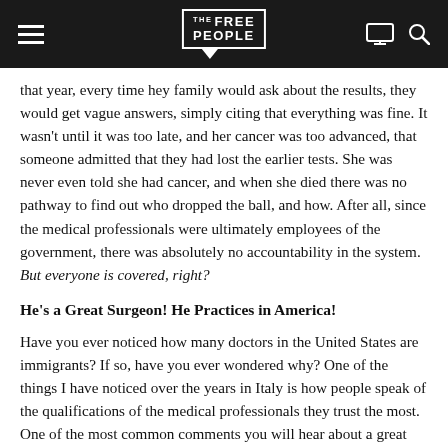Free the People
that year, every time hey family would ask about the results, they would get vague answers, simply citing that everything was fine. It wasn't until it was too late, and her cancer was too advanced, that someone admitted that they had lost the earlier tests. She was never even told she had cancer, and when she died there was no pathway to find out who dropped the ball, and how. After all, since the medical professionals were ultimately employees of the government, there was absolutely no accountability in the system. But everyone is covered, right?
He's a Great Surgeon! He Practices in America!
Have you ever noticed how many doctors in the United States are immigrants? If so, have you ever wondered why? One of the things I have noticed over the years in Italy is how people speak of the qualifications of the medical professionals they trust the most. One of the most common comments you will hear about a great doctor is that they practice in America. Seriously, I have heard this